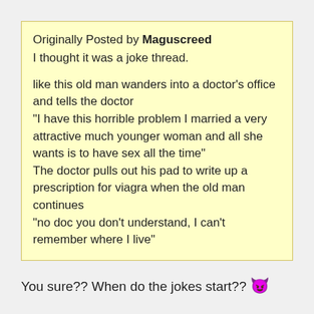Originally Posted by Maguscreed
I thought it was a joke thread.

like this old man wanders into a doctor's office and tells the doctor
"I have this horrible problem I married a very attractive much younger woman and all she wants is to have sex all the time"
The doctor pulls out his pad to write up a prescription for viagra when the old man continues
"no doc you don't understand, I can't remember where I live"
You sure?? When do the jokes start?? 👿